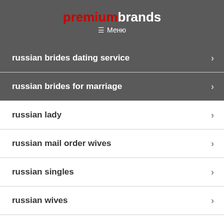premiumbrands / Меню
russian brides dating service
russian brides for marriage
russian lady
russian mail order wives
russian singles
russian wives
Set up loans with bad credit
Sex Chats
Sex Dating Services
simple website builder